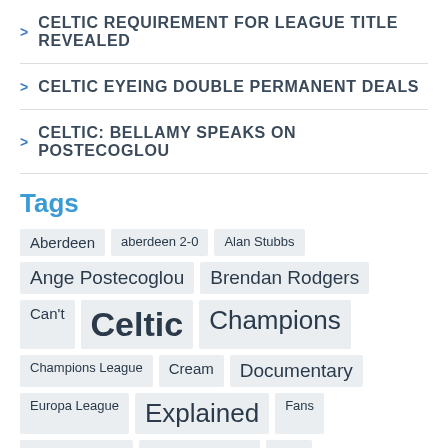> CELTIC REQUIREMENT FOR LEAGUE TITLE REVEALED
> CELTIC EYEING DOUBLE PERMANENT DEALS
> CELTIC: BELLAMY SPEAKS ON POSTECOGLOU
Tags
Aberdeen, aberdeen 2-0, Alan Stubbs, Ange Postecoglou, Brendan Rodgers, Can't, Celtic, Champions, Champions League, Cream, Documentary, Europa League, Explained, Fans, Football, Frank Lampard, gers, Glasgow, graeme murty, Hibs, Hoops, Kieran Tierney